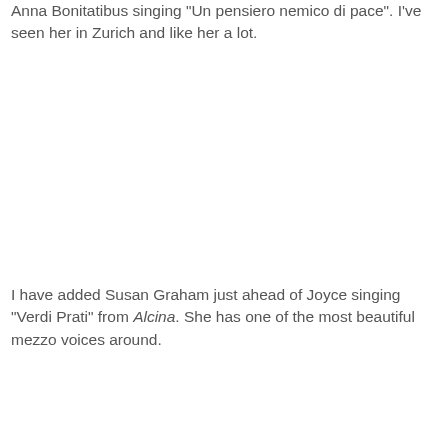Anna Bonitatibus singing "Un pensiero nemico di pace". I've seen her in Zurich and like her a lot.
I have added Susan Graham just ahead of Joyce singing "Verdi Prati" from Alcina. She has one of the most beautiful mezzo voices around.